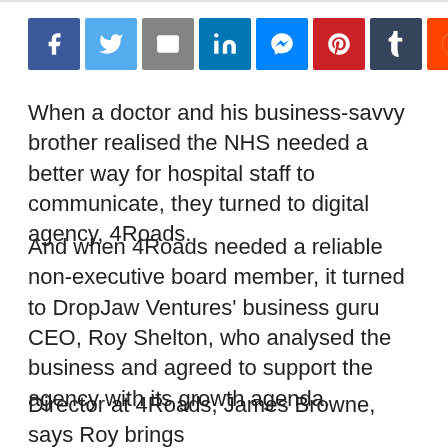[Figure (other): Social media share buttons row: Facebook, Twitter, Email, LinkedIn, Messenger, Pinterest, Tumblr, Reddit, ShareThis]
When a doctor and his business-savvy brother realised the NHS needed a better way for hospital staff to communicate, they turned to digital agency, 4Roads.
And when 4Roads needed a reliable non-executive board member, it turned to DropJaw Ventures' business guru CEO, Roy Shelton, who analysed the business and agreed to support the agency with its growth agenda.
Director at 4Roads, James Browne, says Roy brings